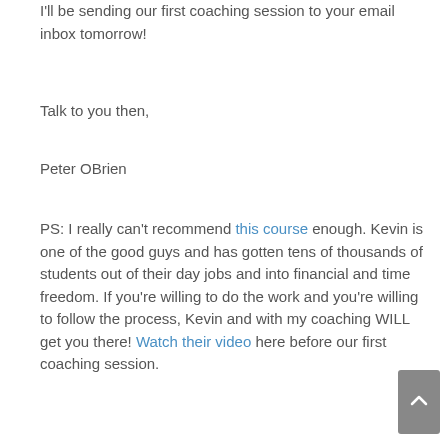I'll be sending our first coaching session to your email inbox tomorrow!
Talk to you then,
Peter OBrien
PS: I really can't recommend this course enough. Kevin is one of the good guys and has gotten tens of thousands of students out of their day jobs and into financial and time freedom. If you're willing to do the work and you're willing to follow the process, Kevin and with my coaching WILL get you there! Watch their video here before our first coaching session.